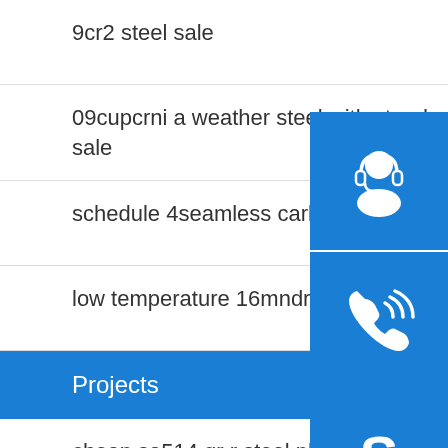9cr2 steel sale
09cupcrni a weather steel with standard sizes for sale
schedule 4seamless carbon steel pipe fittings
low temperature 16mndr boiler containers steel
Projects
cheap sa514 gr r steel plate
api 5l gr b schedule 20 steel pipe for oil and gas
promotion personalized automatic carbon steel pipe mill
[Figure (infographic): Three blue square icon buttons stacked vertically on right side: customer service headset icon, phone/call icon, Skype icon]